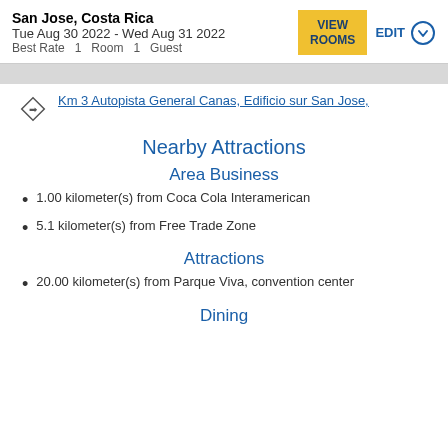San Jose, Costa Rica
Tue Aug 30 2022 - Wed Aug 31 2022
Best Rate  1  Room  1  Guest
Km 3 Autopista General Canas, Edificio sur San Jose,
Nearby Attractions
Area Business
1.00 kilometer(s) from Coca Cola Interamerican
5.1 kilometer(s) from Free Trade Zone
Attractions
20.00 kilometer(s) from Parque Viva, convention center
Dining